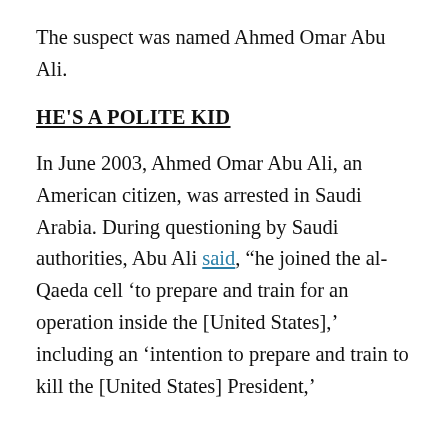The suspect was named Ahmed Omar Abu Ali.
HE'S A POLITE KID
In June 2003, Ahmed Omar Abu Ali, an American citizen, was arrested in Saudi Arabia. During questioning by Saudi authorities, Abu Ali said, “he joined the al-Qaeda cell ‘to prepare and train for an operation inside the [United States],’ including an ‘intention to prepare and train to kill the [United States] President,’